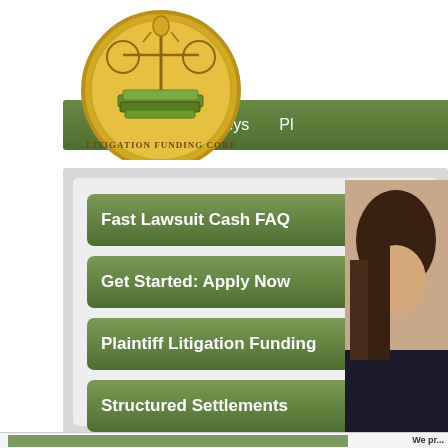[Figure (logo): Litigation Funding Corp circular gold logo with scales of justice and money stacks]
Home    Attorneys    Pl...
Fast Lawsuit Cash FAQ
Get Started: Apply Now
Plaintiff Litigation Funding
Structured Settlements
[Figure (photo): Couple embracing outdoors with green foliage background]
We pr... during... proce... 2 day...